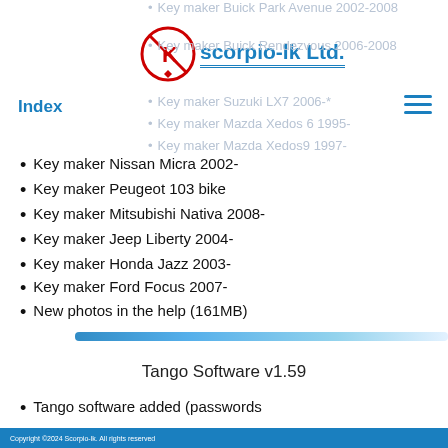[Figure (logo): Scorpio-LK Ltd. logo with circular K emblem in red and blue company name text with underline]
Key maker Buick Park Avenue 2002-2008
Key maker Buick Rendezvous 2006-2008
Key maker Suzuki LX7 2006-*
Key maker Mazda Xedos 6 1995-
Key maker Mazda Xedos9 1997-
Key maker Nissan Micra 2002-
Key maker Peugeot 103 bike
Key maker Mitsubishi Nativa 2008-
Key maker Jeep Liberty 2004-
Key maker Honda Jazz 2003-
Key maker Ford Focus 2007-
New photos in the help (161MB)
Tango Software v1.59
Tango software added (passwords
Copyright ©2024 Scorpio-lk. All rights reserved